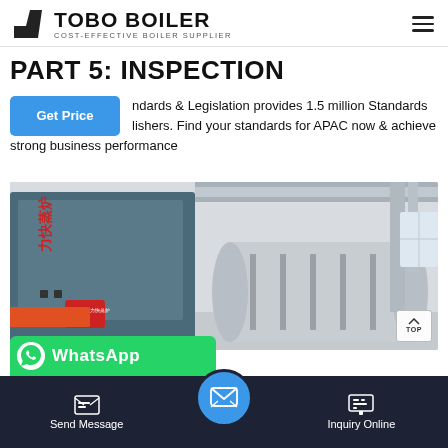TOBO BOILER — COST-EFFECTIVE BOILER SUPPLIER
PART 5: INSPECTION
ndards & Legislation provides 1.5 million Standards lishers. Find your standards for APAC now & achieve strong business performance
[Figure (photo): Industrial boiler room showing a large blue steam boiler on the left and cylindrical pressure vessel on the right with piping and metallic ductwork overhead.]
WhatsApp
Send Message | Inquiry Online